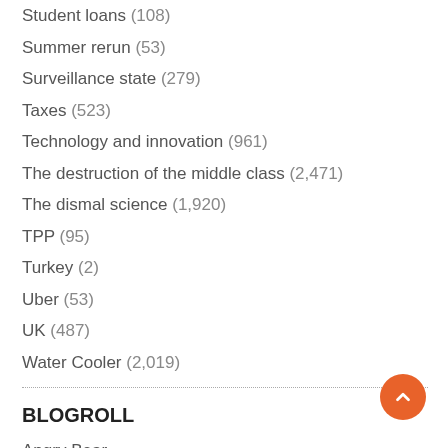Student loans (108)
Summer rerun (53)
Surveillance state (279)
Taxes (523)
Technology and innovation (961)
The destruction of the middle class (2,471)
The dismal science (1,920)
TPP (95)
Turkey (2)
Uber (53)
UK (487)
Water Cooler (2,019)
BLOGROLL
Angry Bear
Automatic Earth
Bill Mitchell – billy blog